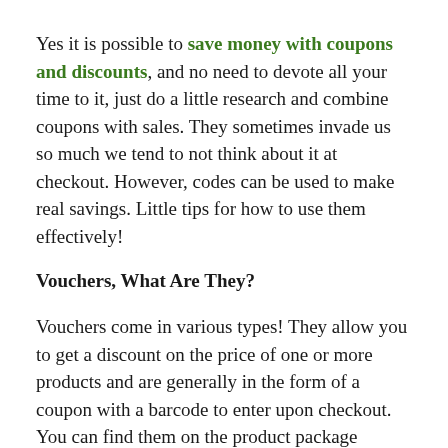Yes it is possible to save money with coupons and discounts, and no need to devote all your time to it, just do a little research and combine coupons with sales. They sometimes invade us so much we tend to not think about it at checkout. However, codes can be used to make real savings. Little tips for how to use them effectively!
Vouchers, What Are They?
Vouchers come in various types! They allow you to get a discount on the price of one or more products and are generally in the form of a coupon with a barcode to enter upon checkout. You can find them on the product package (immediate discount or valid on your next purchase), in magazines, and